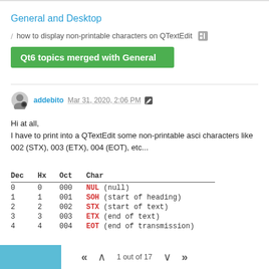General and Desktop
/ how to display non-printable characters on QTextEdit
Qt6 topics merged with General
addebito Mar 31, 2020, 2:06 PM
Hi at all,
I have to print into a QTextEdit some non-printable asci characters like 002 (STX), 003 (ETX), 004 (EOT), etc...
| Dec | Hx | Oct | Char |
| --- | --- | --- | --- |
| 0 | 0 | 000 | NUL (null) |
| 1 | 1 | 001 | SOH (start of heading) |
| 2 | 2 | 002 | STX (start of text) |
| 3 | 3 | 003 | ETX (end of text) |
| 4 | 4 | 004 | EOT (end of transmission) |
1 out of 17